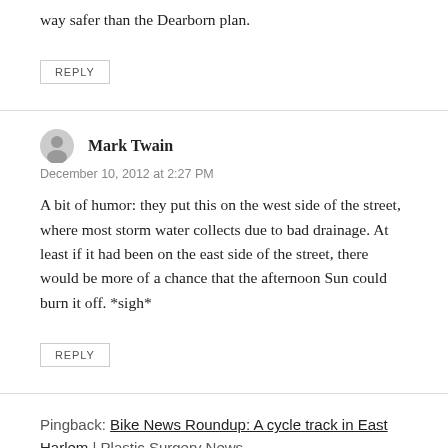way safer than the Dearborn plan.
REPLY
Mark Twain
December 10, 2012 at 2:27 PM
A bit of humor: they put this on the west side of the street, where most storm water collects due to bad drainage. At least if it had been on the east side of the street, there would be more of a chance that the afternoon Sun could burn it off. *sigh*
REPLY
Pingback: Bike News Roundup: A cycle track in East Harlem | Plastic Surgery News